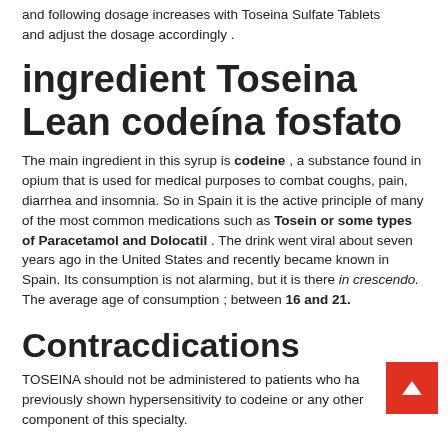and following dosage increases with Toseina Sulfate Tablets and adjust the dosage accordingly .
ingredient Toseina Lean codeína fosfato
The main ingredient in this syrup is codeine , a substance found in opium that is used for medical purposes to combat coughs, pain, diarrhea and insomnia. So in Spain it is the active principle of many of the most common medications such as Tosein or some types of Paracetamol and Dolocatil . The drink went viral about seven years ago in the United States and recently became known in Spain. Its consumption is not alarming, but it is there in crescendo. The average age of consumption ; between 16 and 21.
Contracdications
TOSEINA should not be administered to patients who have previously shown hypersensitivity to codeine or any other component of this specialty.